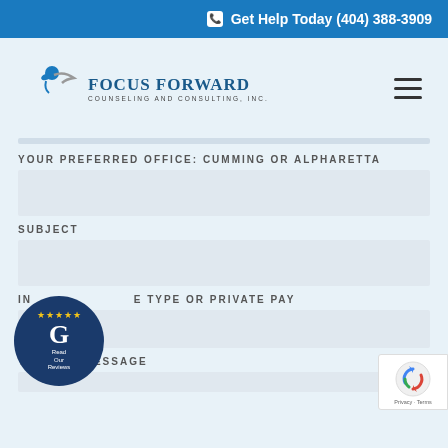Get Help Today (404) 388-3909
[Figure (logo): Focus Forward Counseling and Consulting, Inc. logo with abstract figure and arrow graphic in blue and gray]
YOUR PREFERRED OFFICE: CUMMING OR ALPHARETTA
SUBJECT
INSURANCE TYPE OR PRIVATE PAY
YOUR MESSAGE
[Figure (other): Google Reviews badge - circular dark blue badge with 5 gold stars, Google G logo, and 'Read Our Reviews' text]
[Figure (other): reCAPTCHA badge with Google logo and Privacy - Terms text]